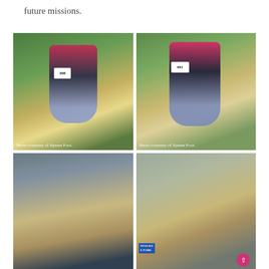future missions.
[Figure (photo): Rider in pink and black on a palomino horse jumping a cross-country fence, with orange and red flags in background. Caption: Photo courtesy of Xpress Foot.]
[Figure (photo): Rider in pink jersey with number 491 on a palomino horse jumping a log fence in a cross-country equestrian event. Caption: Photo courtesy of Xpress Foot.]
[Figure (photo): Rider in white on a light-colored horse jumping a show jumping fence with red and white poles near a grey building.]
[Figure (photo): Rider on a palomino horse jumping at Kentucky Horse Park with spectators watching in background.]